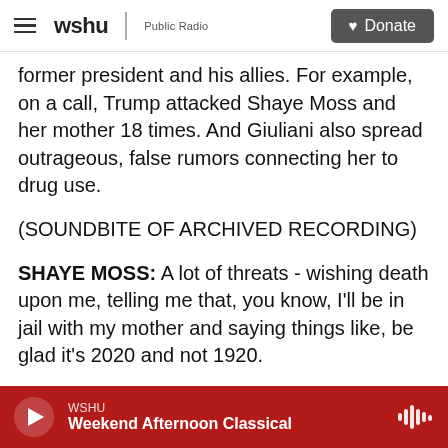wshu | Public Radio  Donate
former president and his allies. For example, on a call, Trump attacked Shaye Moss and her mother 18 times. And Giuliani also spread outrageous, false rumors connecting her to drug use.
(SOUNDBITE OF ARCHIVED RECORDING)
SHAYE MOSS: A lot of threats - wishing death upon me, telling me that, you know, I'll be in jail with my mother and saying things like, be glad it's 2020 and not 1920.
GRISALES: And so this leads into testimony we will hear from other witnesses in the coming days
WSHU  Weekend Afternoon Classical